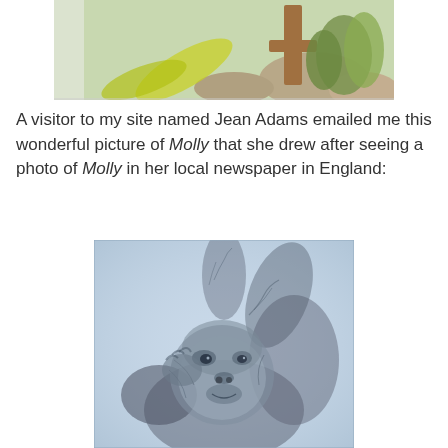[Figure (photo): Partial top photo showing an outdoor scene with grass, rocks, wooden post, and yellow-green foliage — appears to be a zoo or garden habitat]
A visitor to my site named Jean Adams emailed me this wonderful picture of Molly that she drew after seeing a photo of Molly in her local newspaper in England:
[Figure (illustration): A detailed pencil/charcoal drawing of an orangutan (Molly) in blue-tinted grayscale, showing the ape's face and upper body with characteristic long hair, hand raised near face, gentle expression]